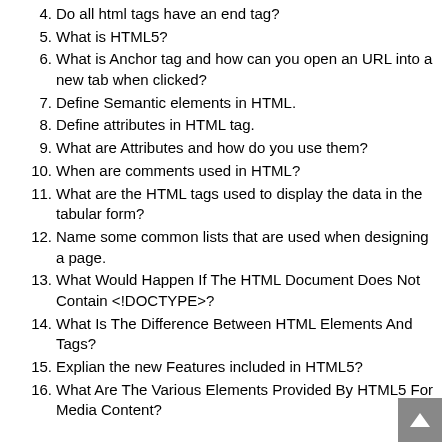4. Do all html tags have an end tag?
5. What is HTML5?
6. What is Anchor tag and how can you open an URL into a new tab when clicked?
7. Define Semantic elements in HTML.
8. Define attributes in HTML tag.
9. What are Attributes and how do you use them?
10. When are comments used in HTML?
11. What are the HTML tags used to display the data in the tabular form?
12. Name some common lists that are used when designing a page.
13. What Would Happen If The HTML Document Does Not Contain <!DOCTYPE>?
14. What Is The Difference Between HTML Elements And Tags?
15. Explian the new Features included in HTML5?
16. What Are The Various Elements Provided By HTML5 For Media Content?